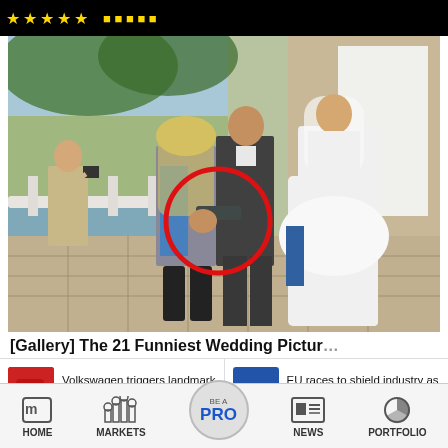[Figure (screenshot): Top black navigation bar with gold star ratings and logo text]
[Figure (photo): Wedding photo showing a group including a bride in white dress, groom in dark suit, and a blonde woman in blue. A red circle highlights a hand gesture. Another man photographs in background with a painted mural backdrop.]
[Gallery] The 21 Funniest Wedding Pictures
[Figure (photo): Thumbnail of a red Volkswagen/Porsche car]
Volkswagen triggers landmark Porsche IPO
[Figure (screenshot): Blue square icon with white figure/text for EU news article]
EU races to shield industry as Russia gas
[Figure (infographic): Bottom navigation bar with HOME, MARKETS, BE A PRO, NEWS, PORTFOLIO icons]